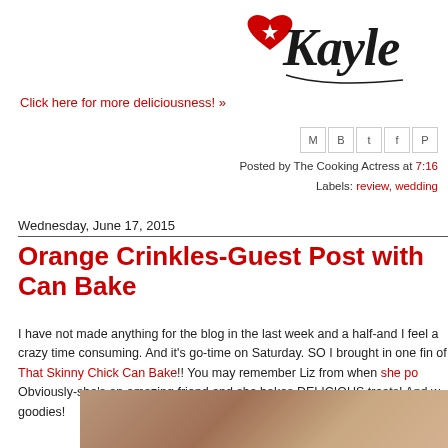[Figure (logo): Kayle blog logo with red heart and star, cursive text 'Kayle']
Click here for more deliciousness! »
[Figure (other): Social share icons: email, Blogger, Twitter, Facebook, Pinterest]
Posted by The Cooking Actress at 7:16
Labels: review, wedding
Wednesday, June 17, 2015
Orange Crinkles-Guest Post with Can Bake
I have not made anything for the blog in the last week and a half-and I feel a crazy time consuming. And it's go-time on Saturday. SO I brought in one fin of That Skinny Chick Can Bake!! You may remember Liz from when she po Obviously-she's an amazing friend and she bakes DELICIOUS treats! And w goodies!
[Figure (photo): Close-up photo of baked goods, warm brown tones]